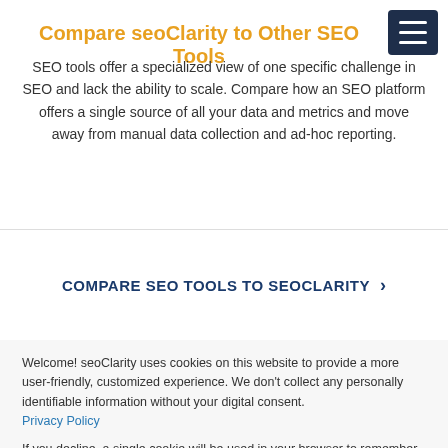Compare seoClarity to Other SEO Tools
SEO tools offer a specialized view of one specific challenge in SEO and lack the ability to scale. Compare how an SEO platform offers a single source of all your data and metrics and move away from manual data collection and ad-hoc reporting.
COMPARE SEO TOOLS TO SEOCLARITY >
Welcome! seoClarity uses cookies on this website to provide a more user-friendly, customized experience. We don't collect any personally identifiable information without your digital consent. Privacy Policy
If you decline, a single cookie will be used in your browser to remember your preference not to be tracked.
Accept
Decline